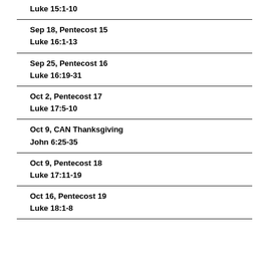Luke 15:1-10
Sep 18, Pentecost 15
Luke 16:1-13
Sep 25, Pentecost 16
Luke 16:19-31
Oct 2, Pentecost 17
Luke 17:5-10
Oct 9, CAN Thanksgiving
John 6:25-35
Oct 9, Pentecost 18
Luke 17:11-19
Oct 16, Pentecost 19
Luke 18:1-8